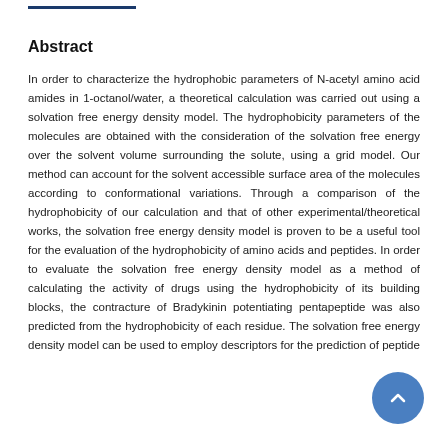Abstract
In order to characterize the hydrophobic parameters of N-acetyl amino acid amides in 1-octanol/water, a theoretical calculation was carried out using a solvation free energy density model. The hydrophobicity parameters of the molecules are obtained with the consideration of the solvation free energy over the solvent volume surrounding the solute, using a grid model. Our method can account for the solvent accessible surface area of the molecules according to conformational variations. Through a comparison of the hydrophobicity of our calculation and that of other experimental/theoretical works, the solvation free energy density model is proven to be a useful tool for the evaluation of the hydrophobicity of amino acids and peptides. In order to evaluate the solvation free energy density model as a method of calculating the activity of drugs using the hydrophobicity of its building blocks, the contracture of Bradykinin potentiating pentapeptide was also predicted from the hydrophobicity of each residue. The solvation free energy density model can be used to employ descriptors for the prediction of peptide